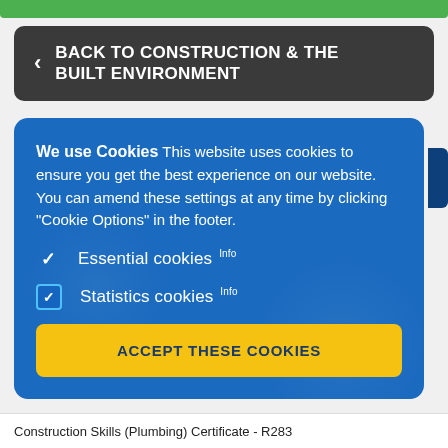< BACK TO CONSTRUCTION & THE BUILT ENVIRONMENT
We use Cookies This website uses cookies to ensure you get the best experience on our website. You can amend these settings at any time by clicking "Cookie Options" in the footer.
✓ Essential cookies Info
✓ Statistics cookies Info
ACCEPT THESE COOKIES
Construction Skills (Plumbing) Certificate - R283